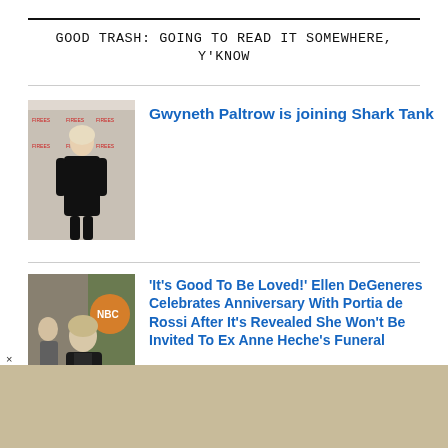GOOD TRASH: GOING TO READ IT SOMEWHERE, Y'KNOW
[Figure (photo): Photo of Gwyneth Paltrow in black dress at event]
Gwyneth Paltrow is joining Shark Tank
[Figure (photo): Photo of Ellen DeGeneres at NBC event]
'It's Good To Be Loved!' Ellen DeGeneres Celebrates Anniversary With Portia de Rossi After It's Revealed She Won't Be Invited To Ex Anne Heche's Funeral